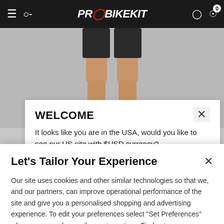PRO BIKE KIT
[Figure (photo): Product photo showing lower body/legs of a cyclist wearing black cycling shorts and dark socks, on a grey background]
WELCOME
It looks like you are in the USA, would you like to see our US site with $USD currency?
Let's Tailor Your Experience
Our site uses cookies and other similar technologies so that we, and our partners, can improve operational performance of the site and give you a personalised shopping and advertising experience. To edit your preferences select "Set Preferences" where you can change these at any time. Find out more information here.